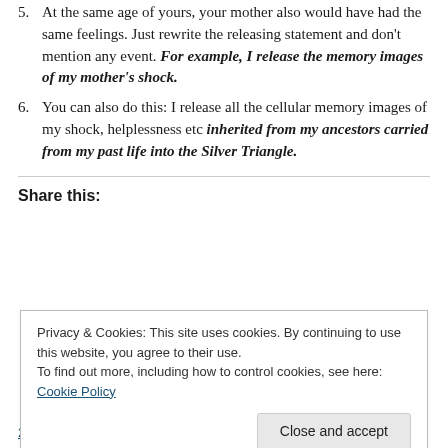5. At the same age of yours, your mother also would have had the same feelings. Just rewrite the releasing statement and don't mention any event. For example, I release the memory images of my mother's shock.
6. You can also do this: I release all the cellular memory images of my shock, helplessness etc inherited from my ancestors carried from my past life into the Silver Triangle.
Share this:
Privacy & Cookies: This site uses cookies. By continuing to use this website, you agree to their use. To find out more, including how to control cookies, see here: Cookie Policy
2 bloggers like this.